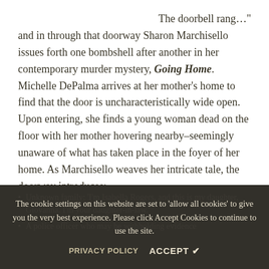The doorbell rang…" and in through that doorway Sharon Marchisello issues forth one bombshell after another in her contemporary murder mystery, Going Home. Michelle DePalma arrives at her mother's home to find that the door is uncharacteristically wide open. Upon entering, she finds a young woman dead on the floor with her mother hovering nearby–seemingly unaware of what has taken place in the foyer of her home. As Marchisello weaves her intricate tale, the doorway introduces:
Unknown family: 'I'm Isabella Rogers, and this is my daughter, Giovanna. I'm your daughter-in-law.'
A police officer who may be withholding evidence
The cookie settings on this website are set to 'allow all cookies' to give you the very best experience. Please click Accept Cookies to continue to use the site.